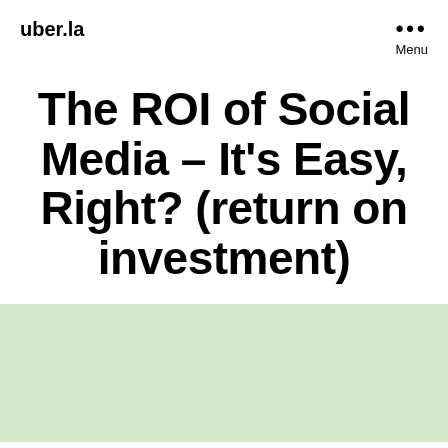uber.la
The ROI of Social Media – It's Easy, Right? (return on investment)
Saying Thank You and Pressing On With the Social Media Marketing Work At Hand...